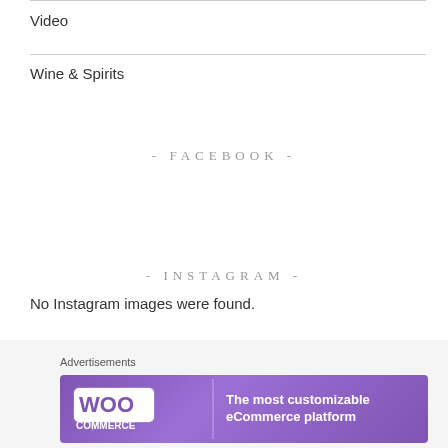Video
Wine & Spirits
- FACEBOOK -
- INSTAGRAM -
No Instagram images were found.
- TWITTER -
Advertisements
[Figure (infographic): WooCommerce advertisement banner with purple background showing WooCommerce logo and text 'The most customizable eCommerce platform']